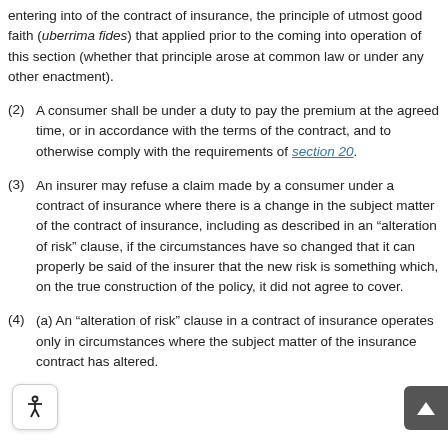entering into of the contract of insurance, the principle of utmost good faith (uberrima fides) that applied prior to the coming into operation of this section (whether that principle arose at common law or under any other enactment).
(2) A consumer shall be under a duty to pay the premium at the agreed time, or in accordance with the terms of the contract, and to otherwise comply with the requirements of section 20.
(3) An insurer may refuse a claim made by a consumer under a contract of insurance where there is a change in the subject matter of the contract of insurance, including as described in an “alteration of risk” clause, if the circumstances have so changed that it can properly be said of the insurer that the new risk is something which, on the true construction of the policy, it did not agree to cover.
(4) (a) An “alteration of risk” clause in a contract of insurance operates only in circumstances where the subject matter of the contract of insurance has altered.